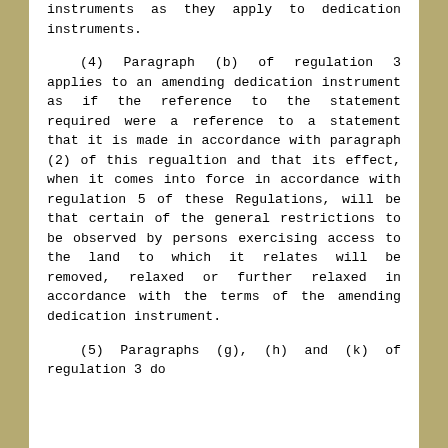instruments as they apply to dedication instruments.
(4) Paragraph (b) of regulation 3 applies to an amending dedication instrument as if the reference to the statement required were a reference to a statement that it is made in accordance with paragraph (2) of this regualtion and that its effect, when it comes into force in accordance with regulation 5 of these Regulations, will be that certain of the general restrictions to be observed by persons exercising access to the land to which it relates will be removed, relaxed or further relaxed in accordance with the terms of the amending dedication instrument.
(5) Paragraphs (g), (h) and (k) of regulation 3 do